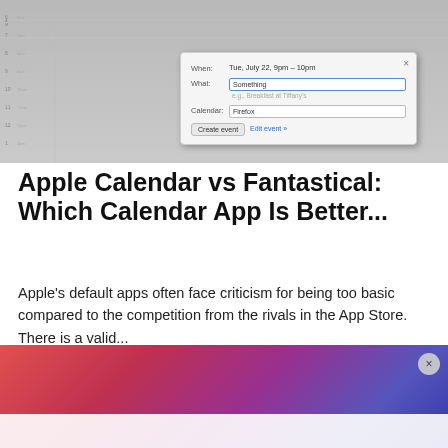[Figure (screenshot): Screenshot of Apple Calendar app with a quick event creation dialog showing When: Tue, July 22, 9pm - 10pm, What: Something, Calendar: Firefox fields, with Create event and Edit event buttons]
Apple Calendar vs Fantastical: Which Calendar App Is Better...
Apple's default apps often face criticism for being too basic compared to the competition from the rivals in the App Store. There is a valid...
[Figure (photo): Colorful advertisement image with red, purple, and blue gradient background, partially cut off at bottom with a close (x) button]